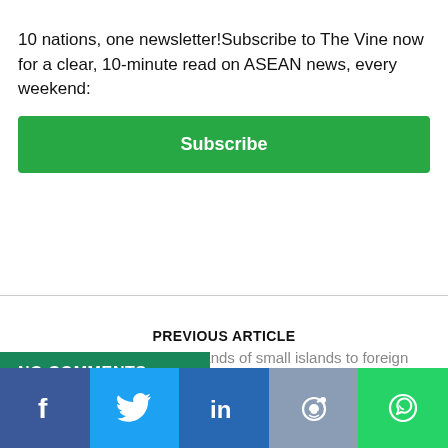10 nations, one newsletter!Subscribe to The Vine now for a clear, 10-minute read on ASEAN news, every weekend:
Subscribe
PREVIOUS ARTICLE
Indonesia to lease thousands of small islands to foreign investors
NEXT ARTICLE
Duterte won't rule out martial law if drug problem remains unresolved
NO COMMENTS
[Figure (infographic): Social share bar with Facebook, Twitter, LinkedIn, Reddit, and WhatsApp icons]